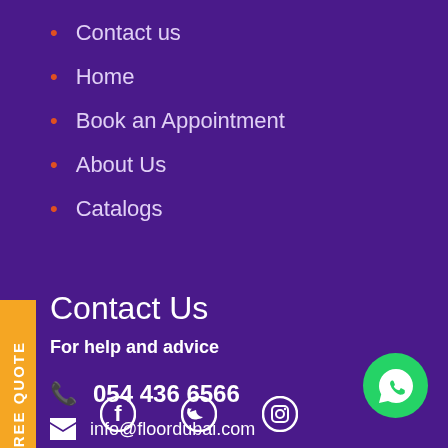Contact us
Home
Book an Appointment
About Us
Catalogs
Contact Us
For help and advice
054 436 6566
info@floordubai.com
[Figure (illustration): Social media icons: Facebook, Twitter, Instagram]
[Figure (logo): WhatsApp button green circle]
FREE QUOTE